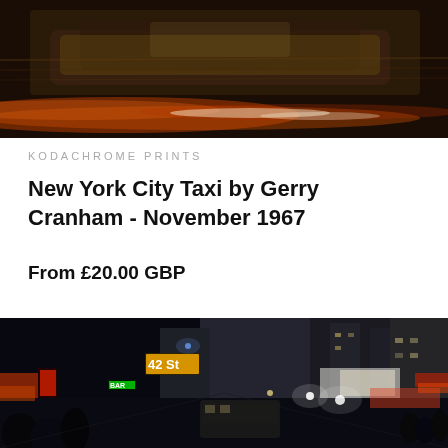[Figure (photo): Blurred motion photograph of a yellow New York City taxi car at night, dark warm tones with orange/red light streaks]
KODACHROME PRINTS
New York City Taxi by Gerry Cranham - November 1967
From £20.00 GBP
[Figure (photo): Night street scene of New York City 42nd Street in November 1967, neon signs lit up including '42 St' sign, busy street with cars and pedestrians, colorful illuminated storefronts and billboards]